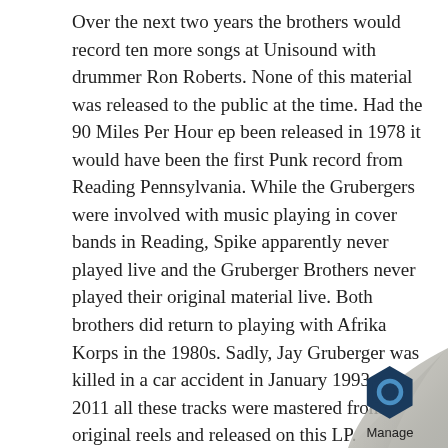Over the next two years the brothers would record ten more songs at Unisound with drummer Ron Roberts. None of this material was released to the public at the time. Had the 90 Miles Per Hour ep been released in 1978 it would have been the first Punk record from Reading Pennsylvania. While the Grubergers were involved with music playing in cover bands in Reading, Spike apparently never played live and the Gruberger Brothers never played their original material live. Both brothers did return to playing with Afrika Korps in the 1980s. Sadly, Jay Gruberger was killed in a car accident in January 1993. In 2011 all these tracks were mastered from the original reels and released on this LP. Solomon passed away in 2012, almost a year after the release of this album.
Since this album is available to purchase at Midhe and I'm sure other places I have only included a c of track so you can sample them – if you like th